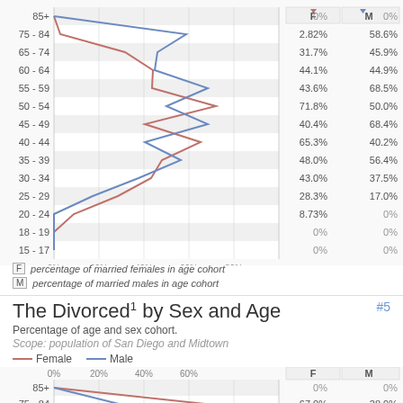[Figure (line-chart): Married by Sex and Age (top portion)]
F  percentage of married females in age cohort
M  percentage of married males in age cohort
The Divorced¹ by Sex and Age
Percentage of age and sex cohort.
Scope: population of San Diego and Midtown
Female   Male
[Figure (line-chart): Divorced by Sex and Age (bottom portion)]
| F | M |
| --- | --- |
| 0% | 0% |
| 67.0% | 28.9% |
| ~40% | ~24% |